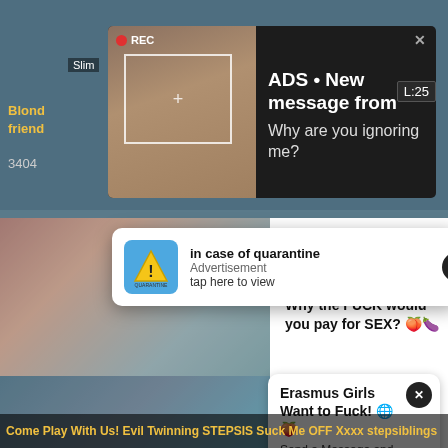[Figure (screenshot): Adult content website screenshot with multiple overlapping ad popups]
REC
Slim
Blond friend
3404
ADS • New message from
Why are you ignoring me?
L:25
in case of quarantine
Advertisement
tap here to view
Horny Babes Near Ashburn?
Why the FUCK would you pay for SEX? 🍑🍆
Erasmus Girls Want to Fuck! 🌐🍑
Send a Message and Fuck for FREE🎉🎉
Come Play With Us! Evil Twinning STEPSIS Suck Me OFF Xxxx stepsiblings